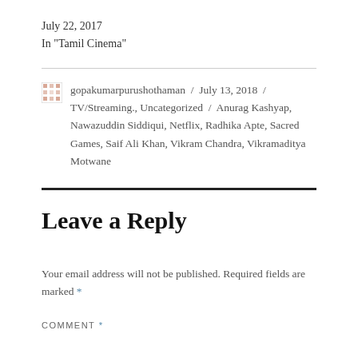July 22, 2017
In "Tamil Cinema"
gopakumarpurushothaman / July 13, 2018 / TV/Streaming., Uncategorized / Anurag Kashyap, Nawazuddin Siddiqui, Netflix, Radhika Apte, Sacred Games, Saif Ali Khan, Vikram Chandra, Vikramaditya Motwane
Leave a Reply
Your email address will not be published. Required fields are marked *
COMMENT *